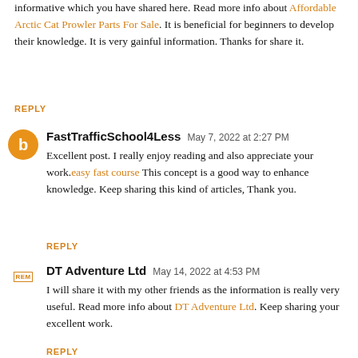informative which you have shared here. Read more info about Affordable Arctic Cat Prowler Parts For Sale. It is beneficial for beginners to develop their knowledge. It is very gainful information. Thanks for share it.
REPLY
FastTrafficSchool4Less  May 7, 2022 at 2:27 PM
Excellent post. I really enjoy reading and also appreciate your work.easy fast course This concept is a good way to enhance knowledge. Keep sharing this kind of articles, Thank you.
REPLY
DT Adventure Ltd  May 14, 2022 at 4:53 PM
I will share it with my other friends as the information is really very useful. Read more info about DT Adventure Ltd. Keep sharing your excellent work.
REPLY